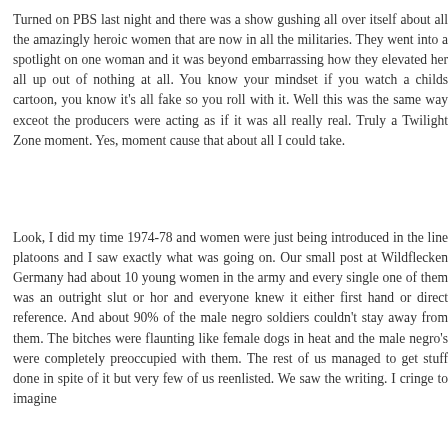Turned on PBS last night and there was a show gushing all over itself about all the amazingly heroic women that are now in all the militaries. They went into a spotlight on one woman and it was beyond embarrassing how they elevated her all up out of nothing at all. You know your mindset if you watch a childs cartoon, you know it's all fake so you roll with it. Well this was the same way exceot the producers were acting as if it was all really real. Truly a Twilight Zone moment. Yes, moment cause that about all I could take.
Look, I did my time 1974-78 and women were just being introduced in the line platoons and I saw exactly what was going on. Our small post at Wildflecken Germany had about 10 young women in the army and every single one of them was an outright slut or hor and everyone knew it either first hand or direct reference. And about 90% of the male negro soldiers couldn't stay away from them. The bitches were flaunting like female dogs in heat and the male negro's were completely preoccupied with them. The rest of us managed to get stuff done in spite of it but very few of us reenlisted. We saw the writing. I cringe to imagine